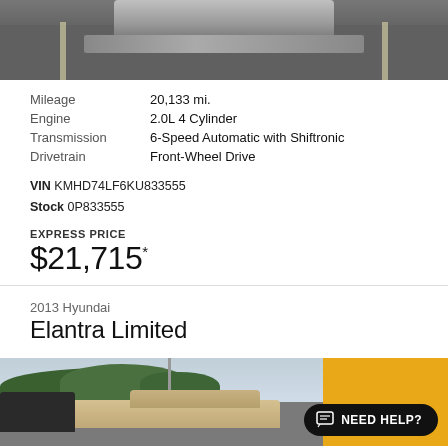[Figure (photo): Top portion of a Hyundai vehicle photographed in a parking lot, showing the hood and roof area from above, on dark asphalt with parking space lines.]
Mileage	20,133 mi.
Engine	2.0L 4 Cylinder
Transmission	6-Speed Automatic with Shiftronic
Drivetrain	Front-Wheel Drive
VIN KMHD74LF6KU833555
Stock 0P833555
EXPRESS PRICE
$21,715*
2013 Hyundai
Elantra Limited
[Figure (photo): 2013 Hyundai Elantra Limited, a light gold/beige sedan photographed in a car lot with trees and cloudy sky in background. A yellow vehicle is visible to the right. A 'NEED HELP?' chat button overlay appears in the bottom right corner.]